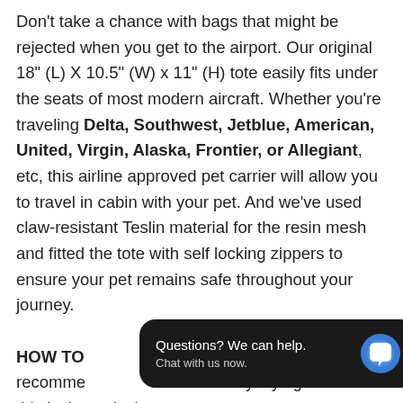Don't take a chance with bags that might be rejected when you get to the airport. Our original 18" (L) X 10.5" (W) x 11" (H) tote easily fits under the seats of most modern aircraft. Whether you're traveling Delta, Southwest, Jetblue, American, United, Virgin, Alaska, Frontier, or Allegiant, etc, this airline approved pet carrier will allow you to travel in cabin with your pet. And we've used claw-resistant Teslin material for the resin mesh and fitted the tote with self locking zippers to ensure your pet remains safe throughout your journey.
HOW TO [partially obscured] always recommend [partially obscured] comfortably laying down as this is the typical
[Figure (other): Chat widget overlay with dark rounded rectangle background showing 'Questions? We can help.' and 'Chat with us now.' text, with a blue speech bubble icon on the right.]